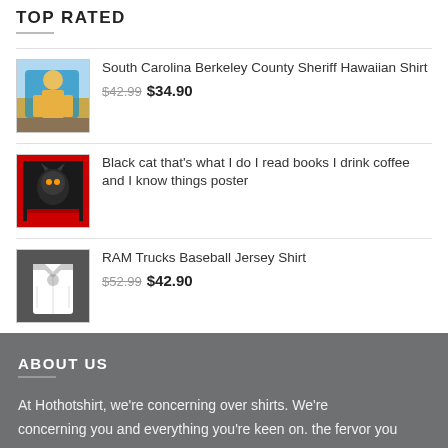TOP RATED
South Carolina Berkeley County Sheriff Hawaiian Shirt — $42.99 $34.90
Black cat that's what I do I read books I drink coffee and I know things poster
RAM Trucks Baseball Jersey Shirt — $52.99 $42.90
ABOUT US
At Hothotshirt, we're concerning over shirts. We're concerning you and everything you're keen on. the fervor you